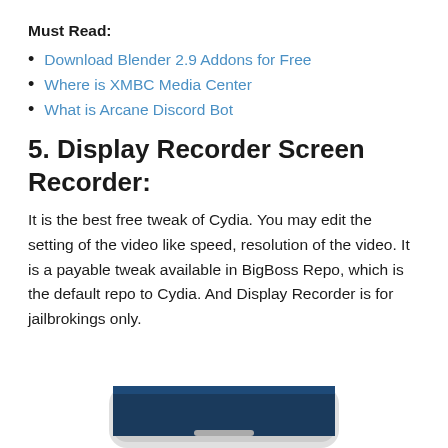Must Read:
Download Blender 2.9 Addons for Free
Where is XMBC Media Center
What is Arcane Discord Bot
5. Display Recorder Screen Recorder:
It is the best free tweak of Cydia. You may edit the setting of the video like speed, resolution of the video. It is a payable tweak available in BigBoss Repo, which is the default repo to Cydia. And Display Recorder is for jailbrokings only.
[Figure (photo): Bottom portion of a white smartphone device visible at the bottom of the page]